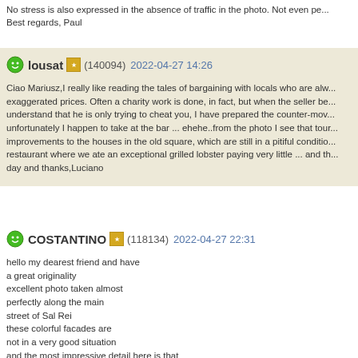No stress is also expressed in the absence of traffic in the photo. Not even pe... Best regards, Paul
lousat (140094) 2022-04-27 14:26
Ciao Mariusz,I really like reading the tales of bargaining with locals who are always with exaggerated prices. Often a charity work is done, in fact, but when the seller be... understand that he is only trying to cheat you, I have prepared the counter-move... unfortunately I happen to take at the bar ... ehehe..from the photo I see that tour... improvements to the houses in the old square, which are still in a pitiful conditio... restaurant where we ate an exceptional grilled lobster paying very little ... and th... day and thanks,Luciano
COSTANTINO (118134) 2022-04-27 22:31
hello my dearest friend and have
a great originality
excellent photo taken almost
perfectly along the main
street of Sal Rei
these colorful facades are
not in a very good situation
and the most impressive detail here is that
almost every shop had written over the
entrance the phrase....No stress...
regards
Costantino